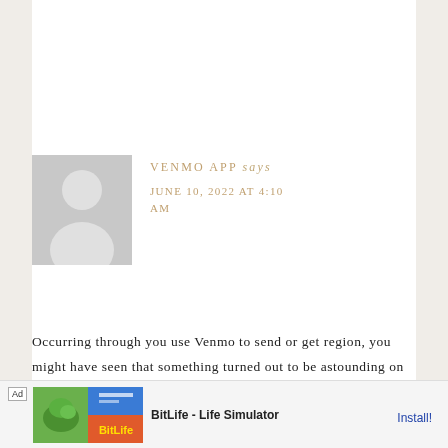Reply
[Figure (photo): Default user avatar placeholder — grey silhouette of a person on grey background]
VENMO APP says
JUNE 10, 2022 AT 4:10 AM
Occurring through you use Venmo to send or get region, you might have seen that something turned out to be astounding on our correspondingly raised indication of late. Other than Venmo Keep Saying Error. We're
[Figure (screenshot): Ad banner for BitLife - Life Simulator app with Install! button]